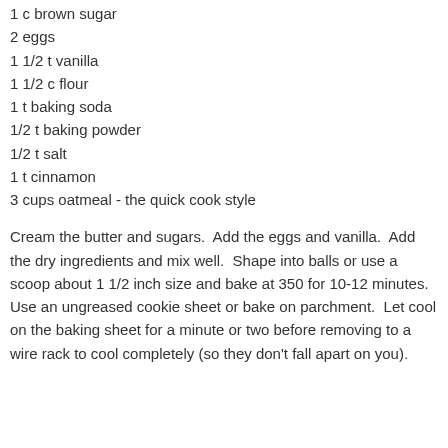1 c brown sugar
2 eggs
1 1/2 t vanilla
1 1/2 c flour
1 t baking soda
1/2 t baking powder
1/2 t salt
1 t cinnamon
3 cups oatmeal - the quick cook style
Cream the butter and sugars.  Add the eggs and vanilla.  Add the dry ingredients and mix well.  Shape into balls or use a scoop about 1 1/2 inch size and bake at 350 for 10-12 minutes.  Use an ungreased cookie sheet or bake on parchment.  Let cool on the baking sheet for a minute or two before removing to a wire rack to cool completely (so they don't fall apart on you).